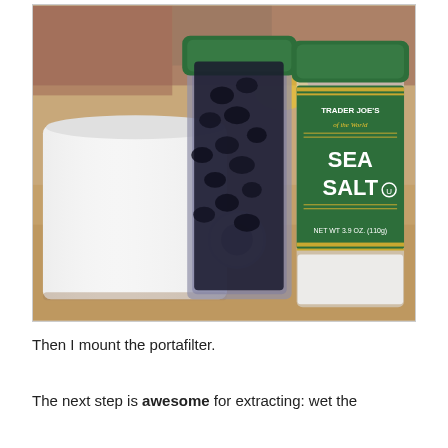[Figure (photo): A white ceramic mug with a round handle sits in front of a glass jar filled with dark coffee beans (green lid) and a Trader Joe's Sea Salt jar (green label, gold trim, green lid). Items are on a wooden surface with a blurred kitchen background.]
Then I mount the portafilter.
The next step is awesome for extracting: wet the